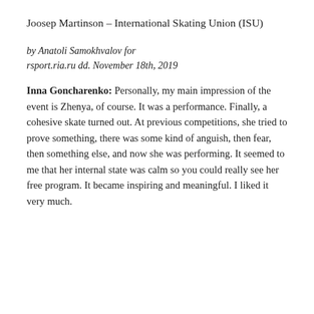Joosep Martinson – International Skating Union (ISU)
by Anatoli Samokhvalov for rsport.ria.ru dd. November 18th, 2019
Inna Goncharenko: Personally, my main impression of the event is Zhenya, of course. It was a performance. Finally, a cohesive skate turned out. At previous competitions, she tried to prove something, there was some kind of anguish, then fear, then something else, and now she was performing. It seemed to me that her internal state was calm so you could really see her free program. It became inspiring and meaningful. I liked it very much.